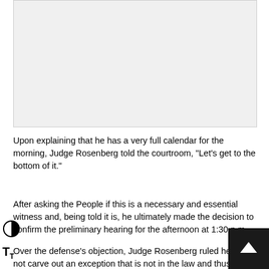[Figure (photo): Large light gray rectangular image placeholder at the top of the page]
Upon explaining that he has a very full calendar for the morning, Judge Rosenberg told the courtroom, “Let’s get to the bottom of it."
After asking the People if this is a necessary and essential witness and, being told it is, he ultimately made the decision to confirm the preliminary hearing for the afternoon at 1:30 p.m.
Over the defense’s objection, Judge Rosenberg ruled he will not carve out an exception that is not in the law and thus will not allow the witness to testify via Zoom.